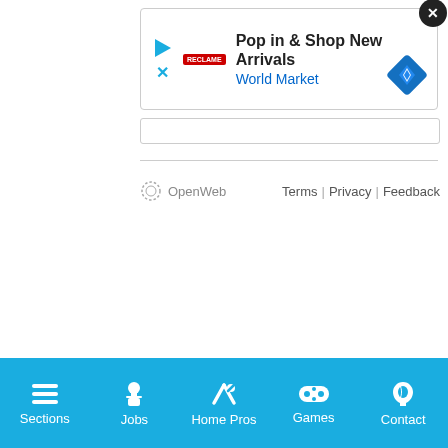[Figure (screenshot): Advertisement banner: 'Pop in & Shop New Arrivals' from World Market with close button and navigation diamond icon]
Terms | Privacy | Feedback
[Figure (logo): OpenWeb logo with circular dotted icon]
Sections | Jobs | Home Pros | Games | Contact